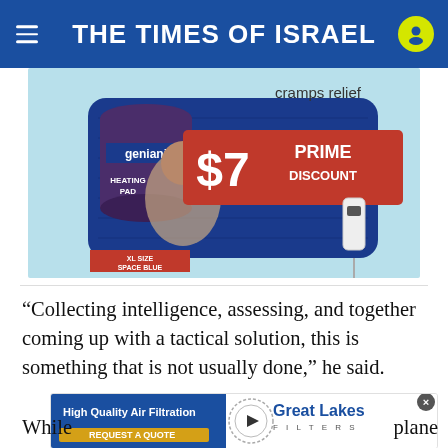THE TIMES OF ISRAEL
[Figure (photo): Advertisement for Geniani heating pad showing a woman holding a blue heating pad, with text 'cramps relief', 'geniani', 'HEATING PAD', '$7 PRIME DISCOUNT', 'XL SIZE SPACE BLUE']
“Collecting intelligence, assessing, and together coming up with a tactical solution, this is something that is not usually done,” he said.
[Figure (photo): Advertisement for Great Lakes Filters showing 'High Quality Air Filtration' and 'REQUEST A QUOTE' with the Great Lakes Filter logo]
While